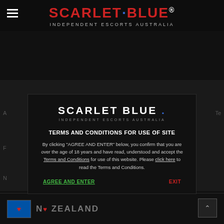SCARLET·BLUE® INDEPENDENT ESCORTS AUSTRALIA
[Figure (screenshot): Modal dialog on dark background website for Scarlet Blue Independent Escorts Australia, containing logo, terms and conditions notice, AGREE AND ENTER and EXIT buttons, and New Zealand footer]
SCARLET BLUE . INDEPENDENT ESCORTS AUSTRALIA
TERMS AND CONDITIONS FOR USE OF SITE
By clicking “AGREE AND ENTER” below, you confirm that you are over the age of 18 years and have read, understood and accept the Terms and Conditions for use of this website. Please click here to read the Terms and Conditions.
AGREE AND ENTER
EXIT
NEW ZEALAND